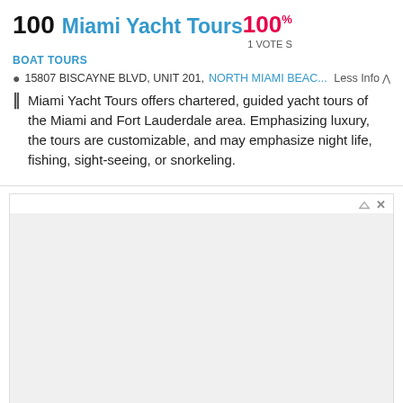100 Miami Yacht Tours
100% 1 VOTES
BOAT TOURS
15807 BISCAYNE BLVD, UNIT 201, NORTH MIAMI BEAC... Less Info
Miami Yacht Tours offers chartered, guided yacht tours of the Miami and Fort Lauderdale area. Emphasizing luxury, the tours are customizable, and may emphasize night life, fishing, sight-seeing, or snorkeling.
[Figure (other): Advertisement block for Fleet Cards For Small Business via Yahoo! Search]
Fleet Cards For Small Business
Search for Fleet Cards For Small Business
Yahoo! Search